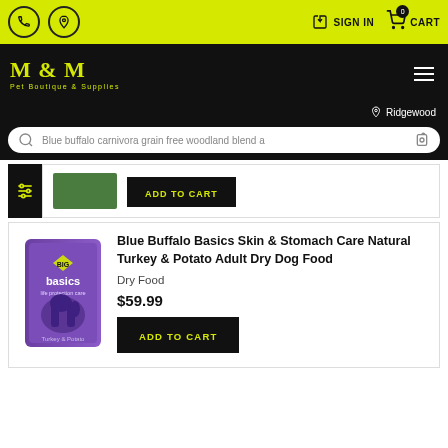M & M Pet Boutique & Supplies — SIGN IN | CART 0
[Figure (screenshot): Search bar with text: Blue buffalo carnivora grain free woodland blend a]
ADD TO CART
[Figure (photo): Blue Buffalo Basics Skin & Stomach Care Natural Turkey & Potato Adult Dry Dog Food bag (purple, dog silhouette)]
Blue Buffalo Basics Skin & Stomach Care Natural Turkey & Potato Adult Dry Dog Food
Dry Food
$59.99
ADD TO CART